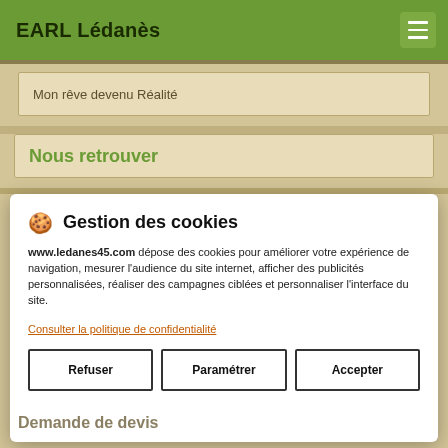EARL Lédanès
Mon rêve devenu Réalité
Nous retrouver
🍪 Gestion des cookies
www.ledanes45.com dépose des cookies pour améliorer votre expérience de navigation, mesurer l'audience du site internet, afficher des publicités personnalisées, réaliser des campagnes ciblées et personnaliser l'interface du site.
Consulter la politique de confidentialité
Refuser
Paramétrer
Accepter
Demande de devis